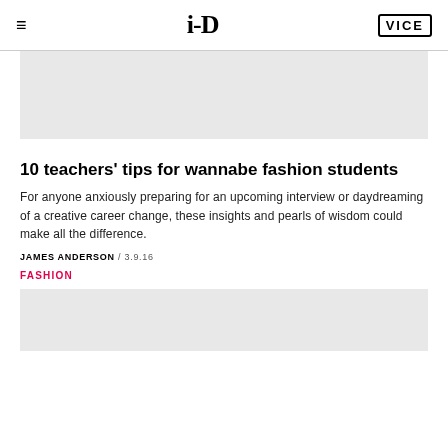i-D / VICE
[Figure (photo): Gray placeholder image at top of article]
10 teachers' tips for wannabe fashion students
For anyone anxiously preparing for an upcoming interview or daydreaming of a creative career change, these insights and pearls of wisdom could make all the difference.
JAMES ANDERSON / 3.9.16
FASHION
[Figure (photo): Gray placeholder image at bottom of article]